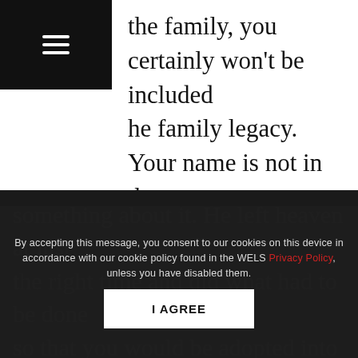the family, you certainly won't be included he family legacy. Your name is not in the will. You won't get a part of the inheritance.
Jesus couldn't imagine that. He couldn't imagine you sitting on the outside looking in. He couldn't imagine you calling to the Father for help and not getting it. He couldn't imagine leaving you out of the will. So, he did something about it. He left heaven at just the right time and did what had to be done so that you would be adopted into the family.
Now, you have all the rights of a son or a
By accepting this message, you consent to our cookies on this device in accordance with our cookie policy found in the WELS Privacy Policy, unless you have disabled them.
I AGREE